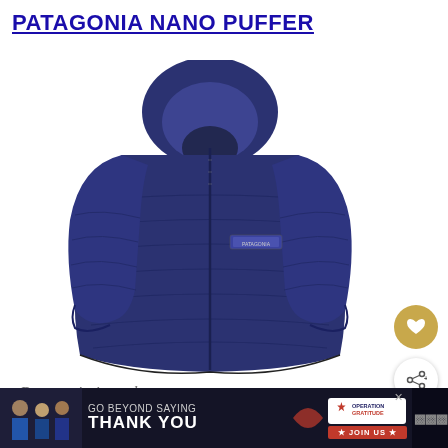PATAGONIA NANO PUFFER
[Figure (photo): Navy blue Patagonia Nano Puffer hooded jacket shown on a white background. The jacket features a full-length zipper, hood, two front pockets, and a quilted/baffled fabric pattern.]
Patagonia is such a
[Figure (infographic): Advertisement banner: 'GO BEYOND SAYING THANK YOU' with Operation Gratitude logo and JOIN US button. Dark background with military personnel photo on left.]